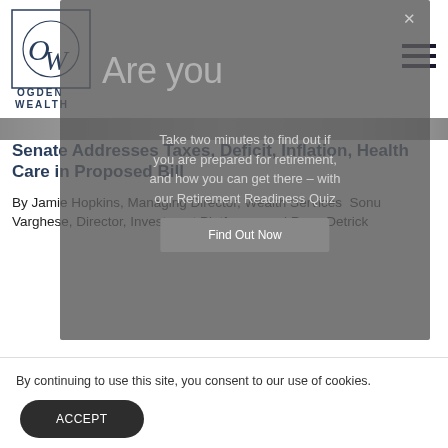[Figure (logo): Ogden Wealth logo — circular OW monogram with OGDEN WEALTH text below]
[Figure (photo): Narrow hero banner image (outdoor/architectural scene)]
Senate Addresses Taxes, Deficit, Inflation, Health Care in Proposed Bill
By Jamie Hopkins, Managing Director, Wealth Services Sonu Varghese, Director, Investment Platforms; and Ryan Detrick
[Figure (screenshot): Semi-transparent modal popup overlay reading: Are you / Take two minutes to find out if / you are prepared for retirement, / and how you can get there – with / our Retirement Readiness Quiz / [Find Out Now button]]
By continuing to use this site, you consent to our use of cookies.
ACCEPT